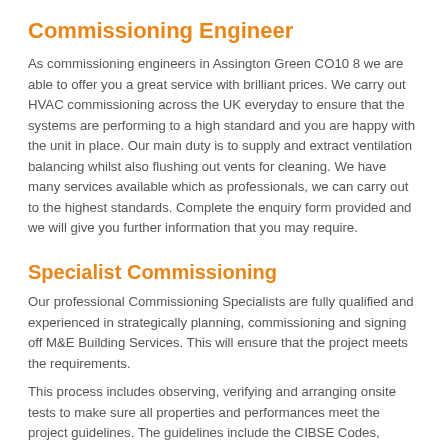Commissioning Engineer
As commissioning engineers in Assington Green CO10 8 we are able to offer you a great service with brilliant prices. We carry out HVAC commissioning across the UK everyday to ensure that the systems are performing to a high standard and you are happy with the unit in place. Our main duty is to supply and extract ventilation balancing whilst also flushing out vents for cleaning. We have many services available which as professionals, we can carry out to the highest standards. Complete the enquiry form provided and we will give you further information that you may require.
Specialist Commissioning
Our professional Commissioning Specialists are fully qualified and experienced in strategically planning, commissioning and signing off M&E Building Services. This will ensure that the project meets the requirements.
This process includes observing, verifying and arranging onsite tests to make sure all properties and performances meet the project guidelines. The guidelines include the CIBSE Codes, BSRIA Guidelines and Part L Building Regulation Requirements.